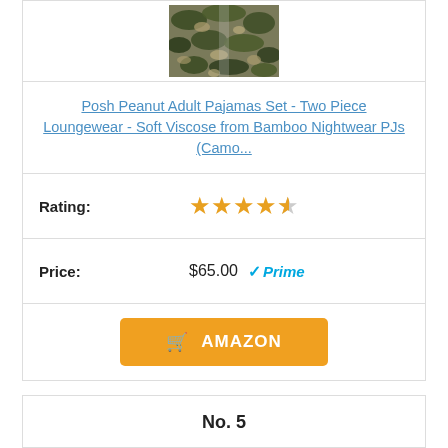[Figure (photo): Camo patterned pajama pants, two pieces shown from waist down]
Posh Peanut Adult Pajamas Set - Two Piece Loungewear - Soft Viscose from Bamboo Nightwear PJs (Camo...
| Rating: | ★★★★½ |
| Price: | $65.00  ✓Prime |
AMAZON
No. 5
[Figure (photo): Fluffy/fuzzy light gray slipper or sock product image]